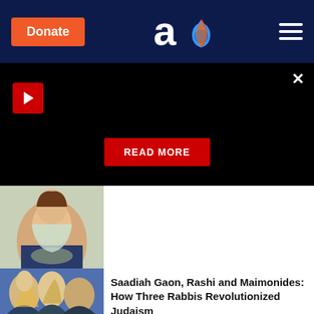Aish.com - Donate button and navigation header
[Figure (screenshot): Black video player area with red play button, close X button, and READ MORE button]
[Figure (photo): Woman holding a bowl of food]
[Figure (illustration): Artistic painting of three rabbis - Saadiah Gaon, Rashi and Maimonides]
Saadiah Gaon, Rashi and Maimonides: How Three Rabbis Revolutionized Judaism
[Figure (photo): Partial image at bottom, cut off]
Is Greece the Word?